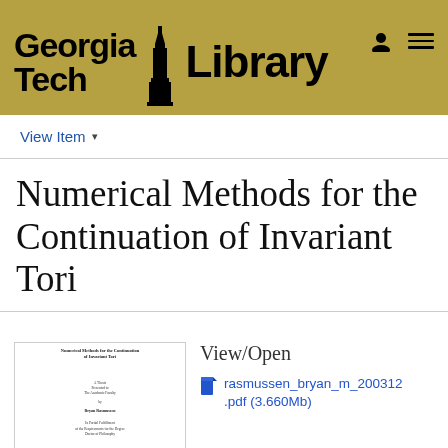[Figure (logo): Georgia Tech Library logo with gold banner header, tower icon, person icon and hamburger menu icon]
View Item ▾
Numerical Methods for the Continuation of Invariant Tori
[Figure (photo): Thumbnail image of the document title page showing 'Numerical Methods for the Continuation of Invariant Tori' by Bryan Rasmussen]
View/Open
rasmussen_bryan_m_200312.pdf (3.660Mb)